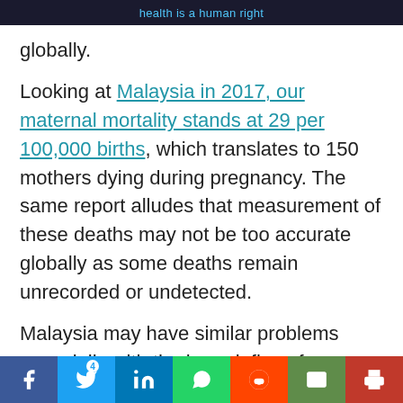health is a human right
globally.
Looking at Malaysia in 2017, our maternal mortality stands at 29 per 100,000 births, which translates to 150 mothers dying during pregnancy. The same report alludes that measurement of these deaths may not be too accurate globally as some deaths remain unrecorded or undetected.
Malaysia may have similar problems especially with the large influx of undocumented immigrants in states like Sabah or areas deep in the interiors. In
Social share bar: Facebook, Twitter (4), LinkedIn, WhatsApp, Reddit, Email, Print